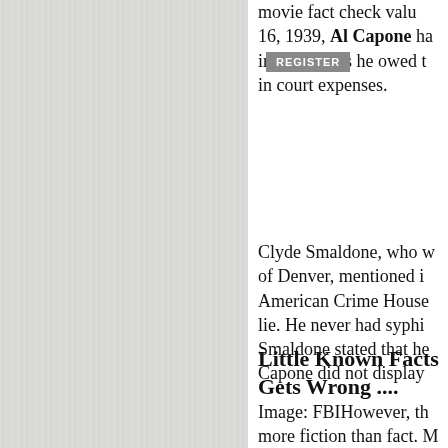movie fact check value... 16, 1939, Al Capone ha... in back taxes he owed t... in court expenses.
Clyde Smaldone, who w... of Denver, mentioned i... American Crime House... lie. He never had syphi... Smaldone stated that he... Capone did not display...
Little Known Facts Gets Wrong ....
Image: FBIHowever, th... more fiction than fact. ... of his 11-year jail sente...